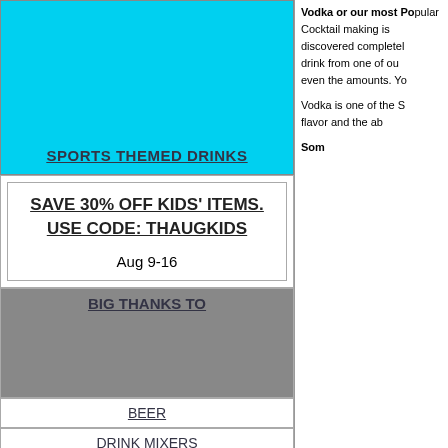[Figure (other): Cyan/light blue banner block with 'SPORTS THEMED DRINKS' link text]
SPORTS THEMED DRINKS
SAVE 30% OFF KIDS' ITEMS. USE CODE: THAUGKIDS

Aug 9-16
BIG THANKS TO
BEER
DRINK MIXERS
FROZEN DRINKS
Vodka or our most Popular Cocktail making is discovered completely drink from one of our even the amounts. Yo
Vodka is one of the S flavor and the ab
Som